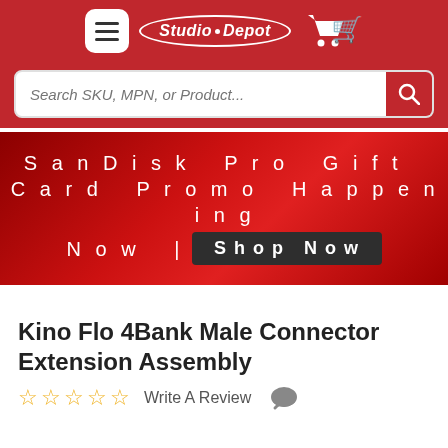[Figure (logo): Studio Depot logo with hamburger menu and shopping cart on red header background]
[Figure (screenshot): Search bar with placeholder text 'Search SKU, MPN, or Product...' and red search button]
SanDisk Pro Gift Card Promo Happening Now | Shop Now
Kino Flo 4Bank Male Connector Extension Assembly
Write A Review